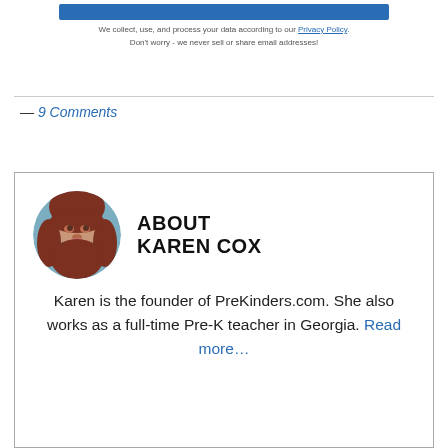[Figure (other): Blue subscribe button bar at top]
We collect, use, and process your data according to our Privacy Policy.
Don't worry - we never sell or share email addresses!
— 9 Comments
[Figure (photo): Circular portrait photo of Karen Cox, a woman with reddish-brown hair]
ABOUT KAREN COX
Karen is the founder of PreKinders.com. She also works as a full-time Pre-K teacher in Georgia. Read more...